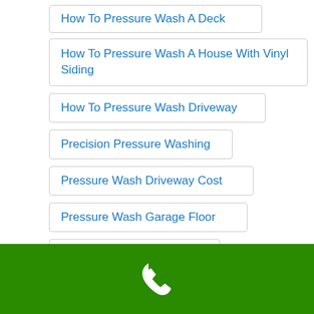How To Pressure Wash A Deck
How To Pressure Wash A House With Vinyl Siding
How To Pressure Wash Driveway
Precision Pressure Washing
Pressure Wash Driveway Cost
Pressure Wash Garage Floor
Pressure Wash Gutters
Pressure Wash House Cost
Pressure Washing A Deck
[Figure (other): Green bar with white phone icon at bottom of page]